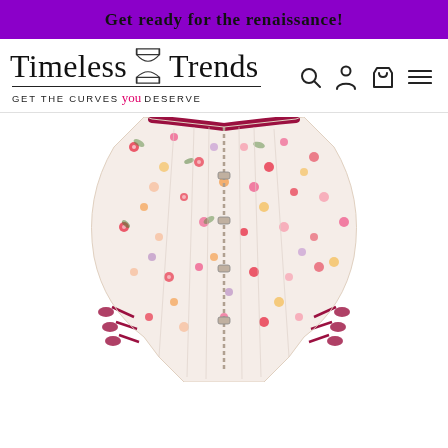Get ready for the renaissance!
[Figure (logo): Timeless Trends logo with hourglass icon, script font, tagline GET THE CURVES you DESERVE]
[Figure (photo): Floral corset with red/burgundy trim, front view showing boning and lacing details, white background]